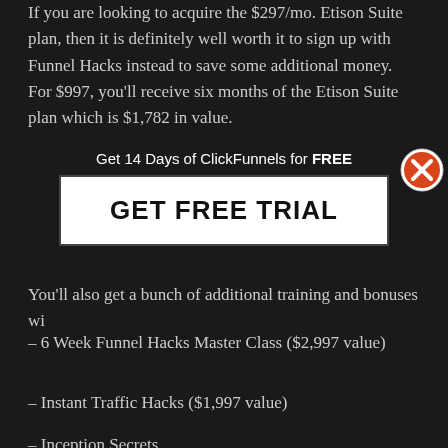If you are looking to acquire the $297/mo. Etison Suite plan, then it is definitely well worth it to sign up with Funnel Hacks instead to save some additional money. For $997, you'll receive six months of the Etison Suite plan which is $1,782 in value.
You'll also get a bunch of additional training and bonuses wi...
[Figure (infographic): Popup overlay with text 'Get 14 Days of ClickFunnels for FREE' and a white button labeled 'GET FREE TRIAL', with an orange X close button in the top right corner]
– 6 Week Funnel Hacks Master Class ($2,997 value)
– Instant Traffic Hacks ($1,997 value)
– Inception Secrets ($1,997 value)